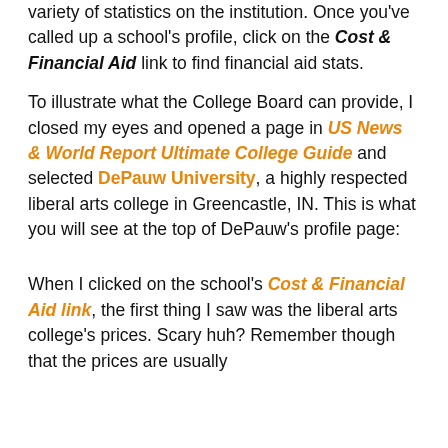variety of statistics on the institution. Once you've called up a school's profile, click on the Cost & Financial Aid link to find financial aid stats.
To illustrate what the College Board can provide, I closed my eyes and opened a page in US News & World Report Ultimate College Guide and selected DePauw University, a highly respected liberal arts college in Greencastle, IN. This is what you will see at the top of DePauw's profile page:
When I clicked on the school's Cost & Financial Aid link, the first thing I saw was the liberal arts college's prices. Scary huh? Remember though that the prices are usually